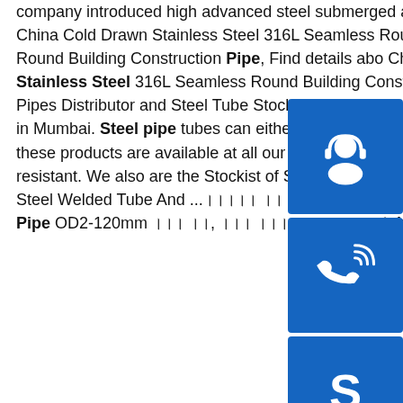company introduced high advanced steel submerged arc welded steel pipe of JCOE production ...sp.info China Cold Drawn Stainless Steel 316L Seamless Round ...China Cold Drawn Stainless Steel 316L Seamless Round Building Construction Pipe, Find details about China Industrial Pipe, Marine Pipe from Cold Drawn Stainless Steel 316L Seamless Round Building Construction Pipe - EZ Steel Industrial Co., Ltd.sp Steel Pipes Distributor and Steel Tube Stockist IndiaTubacex Tubes Traders in India, We stock Nippon Steel Pipes in Mumbai. Steel pipe tubes can either seamless or welded. We have a Stockist of tenaris and tubes. All of these products are available at all our outlets. These pipes possess excellent strength and are highly wear-resistant. We also are the Stockist of Sanyo Special Steel Pipes.sp.info UNS 32750 Super Duplex Stainless Steel Welded Tube And ...।।।।। ।।।।।।।।। UNS 32750 Super Duplex Stainless Steel Welded Tube And Pipe OD2-120mm ।।। ।।, ।।। ।।। ।।।।।।। stainless steel pipe welding...
[Figure (infographic): Three blue square buttons on the right side: headset/support icon, phone/call icon, Skype icon]